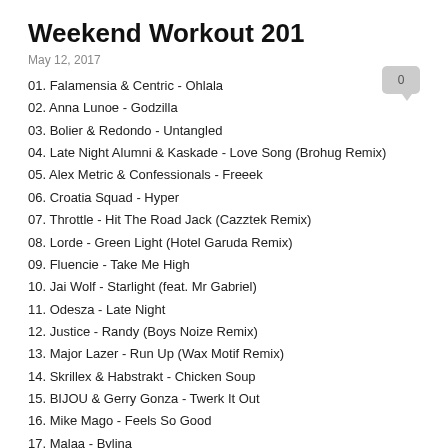Weekend Workout 201
May 12, 2017
01. Falamensia & Centric - Ohlala
02. Anna Lunoe - Godzilla
03. Bolier & Redondo - Untangled
04. Late Night Alumni & Kaskade - Love Song (Brohug Remix)
05. Alex Metric & Confessionals - Freeek
06. Croatia Squad - Hyper
07. Throttle - Hit The Road Jack (Cazztek Remix)
08. Lorde - Green Light (Hotel Garuda Remix)
09. Fluencie - Take Me High
10. Jai Wolf - Starlight (feat. Mr Gabriel)
11. Odesza - Late Night
12. Justice - Randy (Boys Noize Remix)
13. Major Lazer - Run Up (Wax Motif Remix)
14. Skrillex & Habstrakt - Chicken Soup
15. BIJOU & Gerry Gonza - Twerk It Out
16. Mike Mago - Feels So Good
17. Malaa - Bylina
18. Ricci - Boom
19. Goose - What You Need
20. Khwezi - Soul
21. Cashmere Cat - Victoria's Veil